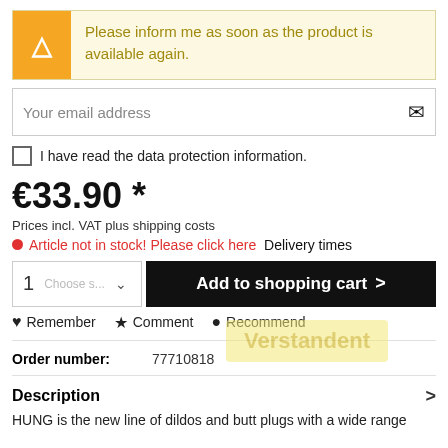Please inform me as soon as the product is available again.
Your email address
I have read the data protection information.
€33.90 *
Prices incl. VAT plus shipping costs
Article not in stock! Please click here Delivery times
1   Add to shopping cart   >
Remember   Comment   Recommend
Order number:   77710818
Description
HUNG is the new line of dildos and butt plugs with a wide range